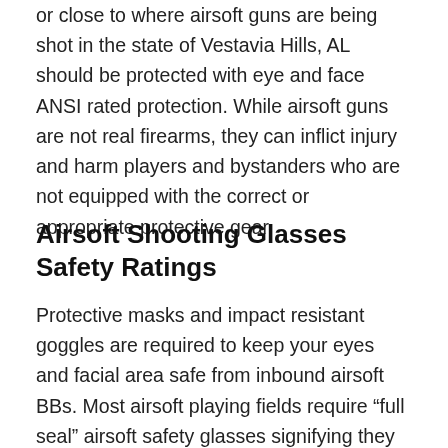or close to where airsoft guns are being shot in the state of Vestavia Hills, AL should be protected with eye and face ANSI rated protection. While airsoft guns are not real firearms, they can inflict injury and harm players and bystanders who are not equipped with the correct or appropriate protective gear.
Airsoft Shooting Glasses Safety Ratings
Protective masks and impact resistant goggles are required to keep your eyes and facial area safe from inbound airsoft BBs. Most airsoft playing fields require “full seal” airsoft safety glasses signifying they have to completely wrap the space around the player’s eyes. These goggles need to be rated to a specific force above on the airsoft BBs current